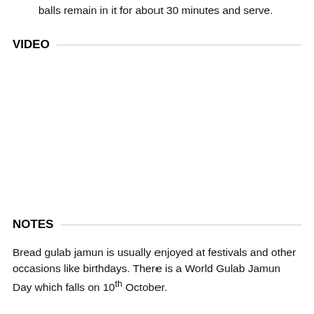balls remain in it for about 30 minutes and serve.
VIDEO
NOTES
Bread gulab jamun is usually enjoyed at festivals and other occasions like birthdays. There is a World Gulab Jamun Day which falls on 10th October.